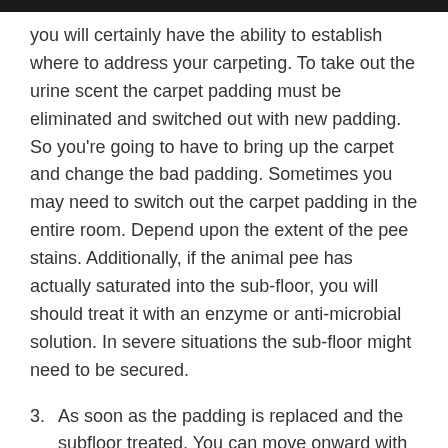you will certainly have the ability to establish where to address your carpeting. To take out the urine scent the carpet padding must be eliminated and switched out with new padding. So you're going to have to bring up the carpet and change the bad padding. Sometimes you may need to switch out the carpet padding in the entire room. Depend upon the extent of the pee stains. Additionally, if the animal pee has actually saturated into the sub-floor, you will should treat it with an enzyme or anti-microbial solution. In severe situations the sub-floor might need to be secured.
3. As soon as the padding is replaced and the subfloor treated. You can move onward with the cleaning procedure. You will certainly have to cleanse the backside of the carpet. The recommended means to do this is with boiling water extraction. You can include chemicals or an anti-microbial into it, however during this